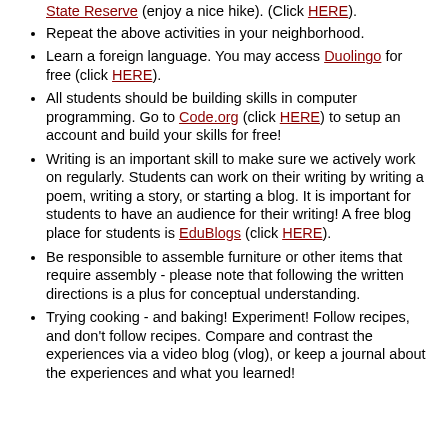State Reserve (enjoy a nice hike). (Click HERE).
Repeat the above activities in your neighborhood.
Learn a foreign language. You may access Duolingo for free (click HERE).
All students should be building skills in computer programming. Go to Code.org (click HERE) to setup an account and build your skills for free!
Writing is an important skill to make sure we actively work on regularly. Students can work on their writing by writing a poem, writing a story, or starting a blog. It is important for students to have an audience for their writing! A free blog place for students is EduBlogs (click HERE).
Be responsible to assemble furniture or other items that require assembly - please note that following the written directions is a plus for conceptual understanding.
Trying cooking - and baking! Experiment! Follow recipes, and don't follow recipes. Compare and contrast the experiences via a video blog (vlog), or keep a journal about the experiences and what you learned!